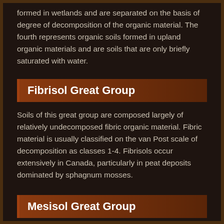formed in wetlands and are separated on the basis of degree of decomposition of the organic material. The fourth represents organic soils formed in upland organic materials and are soils that are only briefly saturated with water.
Fibrisol Great Group
Soils of this great group are composed largely of relatively undecomposed fibric organic material. Fibric material is usually classified on the van Post scale of decomposition as classes 1-4. Fibrisols occur extensively in Canada, particularly in peat deposits dominated by sphagnum mosses.
Mesisol Great Group
These Soils are dissolved...